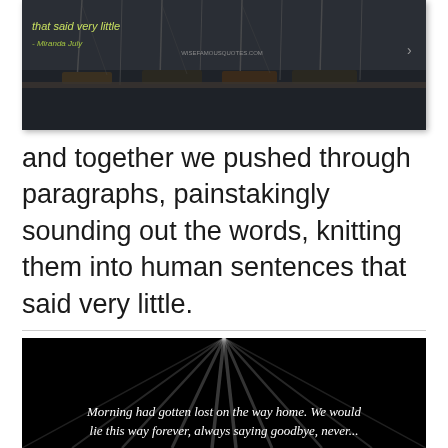[Figure (photo): Dark-toned photo of a marina with sailboats, overlaid with a quote in yellow/green text 'that said very little' attributed to Miranda July, and wisefamousquotes.com watermark]
and together we pushed through paragraphs, painstakingly sounding out the words, knitting them into human sentences that said very little.
[Figure (photo): Dark background with light rays/beams, overlaid with italic white script text: 'Morning had gotten lost on the way home. We would lie this way forever, always saying goodbye, never...']